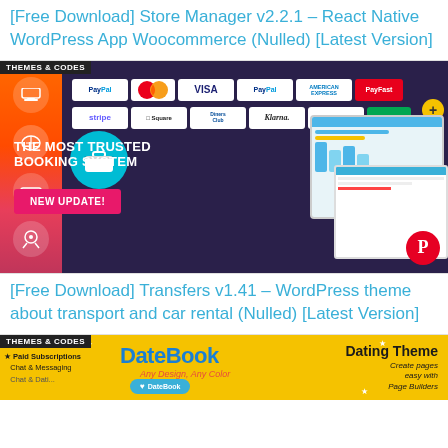[Free Download] Store Manager v2.2.1 – React Native WordPress App Woocommerce (Nulled) [Latest Version]
[Figure (screenshot): Booking system promotional banner with THEMES & CODES badge, payment logos (PayPal, Mastercard, Visa, PayPal, American Express, PayFast, stripe, Square, Diners Club, Klarna, amazon, eWay), 'THE MOST TRUSTED BOOKING SYSTEM', 'NEW UPDATE!' button, sidebar icons, laptop screenshot, Pinterest button]
[Free Download] Transfers v1.41 – WordPress theme about transport and car rental (Nulled) [Latest Version]
[Figure (screenshot): DateBook Dating Theme promotional banner with THEMES & CODES badge, DateBook title in blue, 'Any Design, Any Color' subtitle, Dating Theme text, Paid Subscriptions, Chat & Messaging features listed, Create pages easy with Page Builders text, DateBook button]